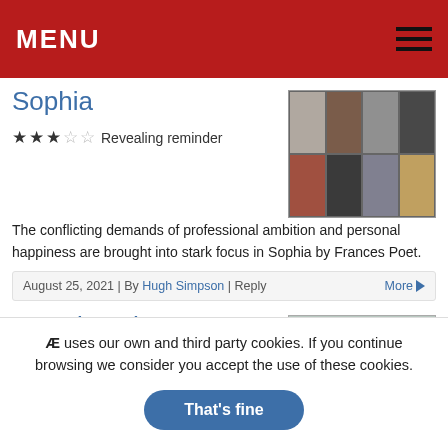MENU
Sophia
★★★☆☆ Revealing reminder
The conflicting demands of professional ambition and personal happiness are brought into stark focus in Sophia by Frances Poet.
[Figure (photo): Grid of headshot photos for the show Sophia]
August 25, 2021 | By Hugh Simpson | Reply
More ➡
Bytesize Theatre
★★★☆☆ Welcome
[Figure (photo): Photo of performers in Bytesize Theatre production]
The lack of time to plan for live theatre at
Æ uses our own and third party cookies. If you continue browsing we consider you accept the use of these cookies.
That's fine